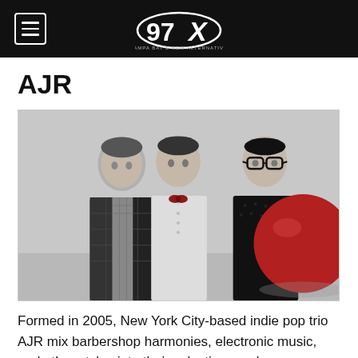97X — Tampa Bay's New Alternative
AJR
[Figure (photo): Black and white photo of three young men standing together: left man in plaid blazer and checkered shirt, center man in white short-sleeve shirt with red bow tie, right man in dark patterned shirt holding a large red ball, wearing glasses.]
Formed in 2005, New York City-based indie pop trio AJR mix barbershop harmonies, electronic music, and other styles into their eclectic sound.